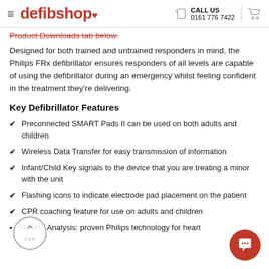defibshop — CALL US 0161 776 7422
Product Downloads tab below.
Designed for both trained and untrained responders in mind, the Philips FRx defibrillator ensures responders of all levels are capable of using the defibrillator during an emergency whilst feeling confident in the treatment they're delivering.
Key Defibrillator Features
Preconnected SMART Pads II can be used on both adults and children
Wireless Data Transfer for easy transmission of information
Infant/Child Key signals to the device that you are treating a minor with the unit
Flashing icons to indicate electrode pad placement on the patient
CPR coaching feature for use on adults and children
SMART Analysis: proven Philips technology for heart